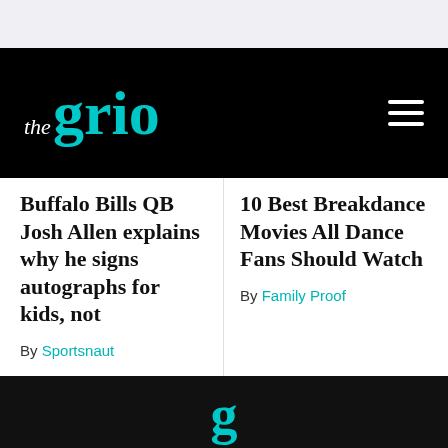the grio
Buffalo Bills QB Josh Allen explains why he signs autographs for kids, not
By Sportsnaut
10 Best Breakdance Movies All Dance Fans Should Watch
By Family Proof
g